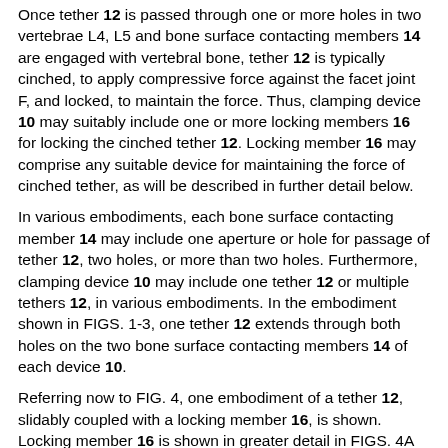Once tether 12 is passed through one or more holes in two vertebrae L4, L5 and bone surface contacting members 14 are engaged with vertebral bone, tether 12 is typically cinched, to apply compressive force against the facet joint F, and locked, to maintain the force. Thus, clamping device 10 may suitably include one or more locking members 16 for locking the cinched tether 12. Locking member 16 may comprise any suitable device for maintaining the force of cinched tether, as will be described in further detail below.
In various embodiments, each bone surface contacting member 14 may include one aperture or hole for passage of tether 12, two holes, or more than two holes. Furthermore, clamping device 10 may include one tether 12 or multiple tethers 12, in various embodiments. In the embodiment shown in FIGS. 1-3, one tether 12 extends through both holes on the two bone surface contacting members 14 of each device 10.
Referring now to FIG. 4, one embodiment of a tether 12, slidably coupled with a locking member 16, is shown. Locking member 16 is shown in greater detail in FIGS. 4A and 4B. In various embodiments, tether 12 may be made of any of a number of suitable materials, such as but not limited to stainless steel, cobalt-chromium alloy, titanium, Nitinol, ultra-high molecular weight polyethylene, cobalt-chromium alloy, PTFE or PET. Locking member 16 may similarly be made of any suitable material. In one embodiment, locking member 16 made of a material that allows it to be crimped to lock the two ends of tether 12. In various embodiments, locking member 16 may